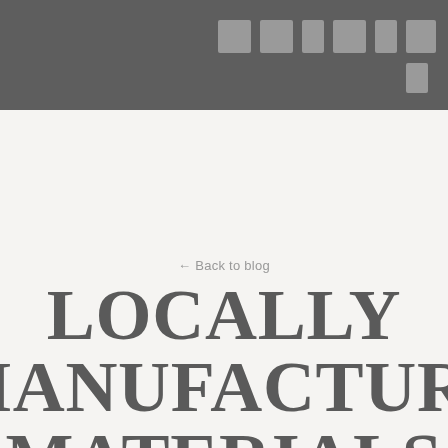[navigation bar with icons]
← Back to blog
LOCALLY MANUFACTURED MATERIALS